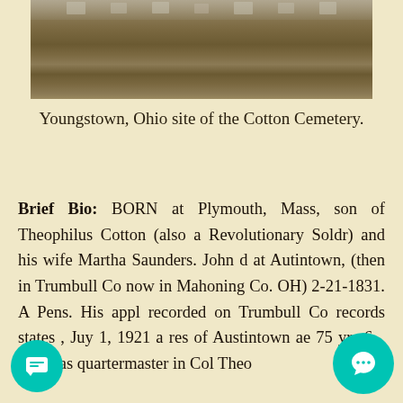[Figure (photo): Photograph of Youngstown, Ohio site of the Cotton Cemetery, showing gravestones and ground covered with dry leaves/grass]
Youngstown, Ohio site of the Cotton Cemetery.
Brief Bio: BORN at Plymouth, Mass, son of Theophilus Cotton (also a Revolutionary Soldr) and his wife Martha Saunders. John d at Autintown, (then in Trumbull Co now in Mahoning Co. OH) 2-21-1831. A Pens. His appl recorded on Trumbull Co records states , Juy 1, 1921 a res of Austintown ae 75 yrs 6... erved as quartermaster in Col Theo...